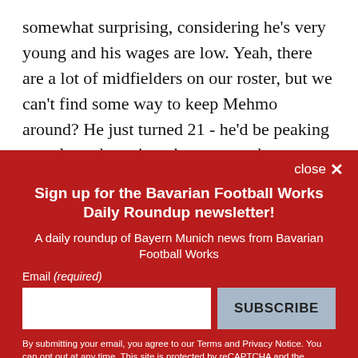somewhat surprising, considering he’s very young and his wages are low. Yeah, there are a lot of midfielders on our roster, but we can’t find some way to keep Mehmo around? He just turned 21 - he’d be peaking exactly at the point when we need someone to step in for Tymo or even Ribery.
close ×
Sign up for the Bavarian Football Works Daily Roundup newsletter!
A daily roundup of Bayern Munich news from Bavarian Football Works
Email (required)
SUBSCRIBE
By submitting your email, you agree to our Terms and Privacy Notice. You can opt out at any time. This site is protected by reCAPTCHA and the Google Privacy Policy and Terms of Service apply.